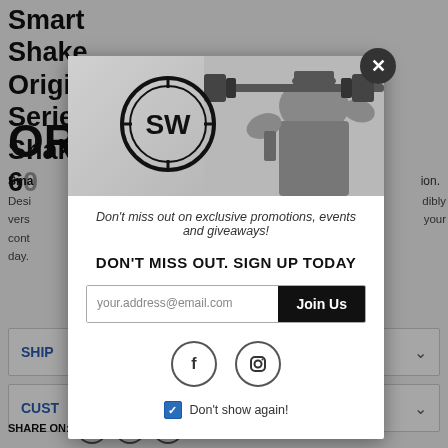Smart Shake Original Series Shaker 60
OR
Smart... ion.
Desi...your day.
[Figure (screenshot): Modal popup overlay on e-commerce product page. Contains SW fitness brand logo, athlete lifting barbell photo, promotional text 'Don't miss out on exclusive promotions, events and giveaways!', email signup form with 'Join Us' button, Facebook and Instagram social icons, and 'Don't show again!' checkbox. Close button (X) in top right.]
DON'T MISS OUT. SIGN UP TODAY
your.address@email.com
Join Us
Don't show again!
SHARE ON:
SHIP
CUST